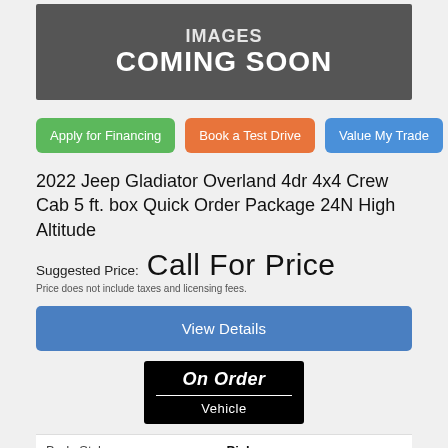[Figure (illustration): Dark gray banner image placeholder showing text 'IMAGES COMING SOON' in white bold letters]
Apply for Financing
Book a Test Drive
Value My Trade
2022 Jeep Gladiator Overland 4dr 4x4 Crew Cab 5 ft. box Quick Order Package 24N High Altitude
Suggested Price: Call For Price
Price does not include taxes and licensing fees.
View Details
[Figure (other): Black badge with white text reading 'On Order' in bold italic on top half and 'Vehicle' on bottom half separated by a white line]
| Body Style: | Pickup |
| Engine: | 3.6L 6cyl |